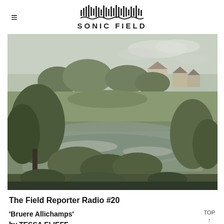SONIC FIELD
[Figure (photo): A scenic landscape photograph showing trees, shrubs, a river or stream in the foreground, and historic stone buildings visible on a hillside in the background under a grey sky. The scene is in muted greens and greys, consistent with a French countryside village.]
The Field Reporter Radio #20
'Bruere Allichamps'
by TESSA ELIEFF
TOP ↑